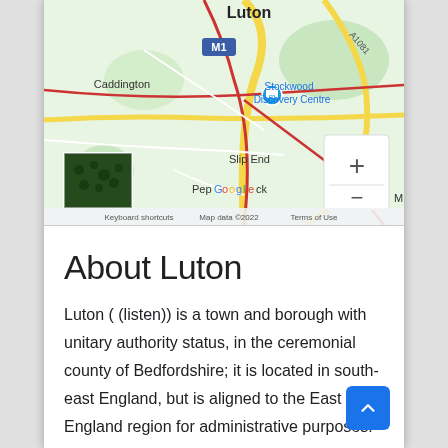[Figure (map): Google Maps screenshot showing Luton area, including Caddington, Stockwood Discovery Centre, Slip End, Pepperstock locations, M1 motorway marker, A1081 road, zoom controls (+/-), thumbnail overlay, and footer with 'Keyboard shortcuts', 'Map data ©2022', 'Terms of Use']
About Luton
Luton ( (listen)) is a town and borough with unitary authority status, in the ceremonial county of Bedfordshire; it is located in south-east England, but is aligned to the East of England region for administrative purposes. At the 2011 census, the Luton built-up area